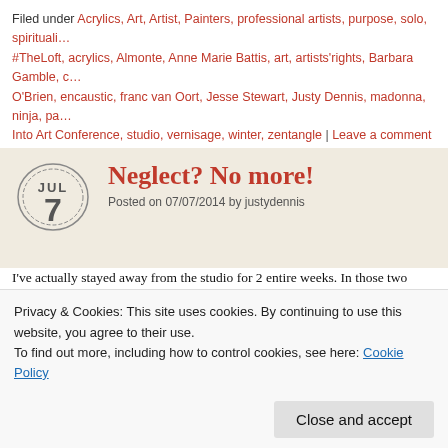Filed under Acrylics, Art, Artist, Painters, professional artists, purpose, solo, spirituali… #TheLoft, acrylics, Almonte, Anne Marie Battis, art, artists'rights, Barbara Gamble, c… O'Brien, encaustic, franc van Oort, Jesse Stewart, Justy Dennis, madonna, ninja, pa… Into Art Conference, studio, vernisage, winter, zentangle | Leave a comment
Neglect? No more!
Posted on 07/07/2014 by justydennis
I've actually stayed away from the studio for 2 entire weeks. In those two wee… had to work my day job as well. Yes, I still have the day job. I'm pretty gratefu…
So I forced myself to hit the studio last Saturday. I had every intention of getti… all the way to noon. I'm very good at stalling. But I kicked my butt into gear, p… the bike and made it to the studio with only two stops along the way. One was…
Privacy & Cookies: This site uses cookies. By continuing to use this website, you agree to their use.
To find out more, including how to control cookies, see here: Cookie Policy
Close and accept